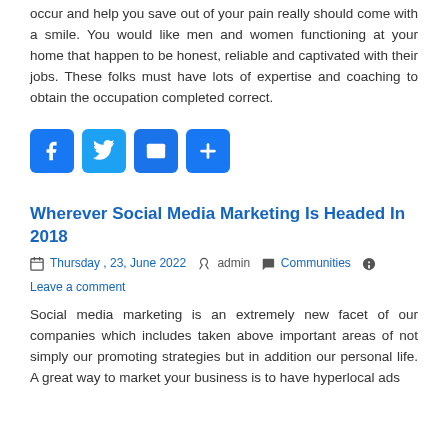occur and help you save out of your pain really should come with a smile. You would like men and women functioning at your home that happen to be honest, reliable and captivated with their jobs. These folks must have lots of expertise and coaching to obtain the occupation completed correct.
[Figure (infographic): Four social sharing icon buttons: Facebook (blue F), Twitter (blue bird), Email (blue envelope), Share (blue plus)]
Wherever Social Media Marketing Is Headed In 2018
Thursday , 23, June 2022  admin  Communities  Leave a comment
Social media marketing is an extremely new facet of our companies which includes taken above important areas of not simply our promoting strategies but in addition our personal life. A great way to market your business is to have hyperlocal ads